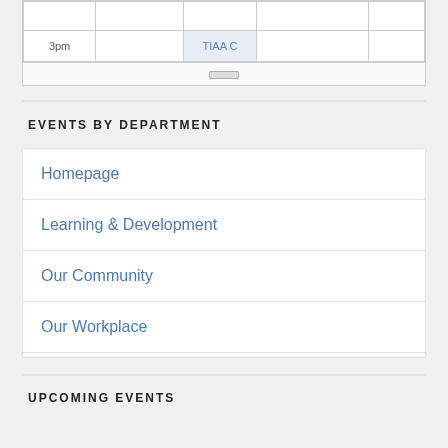|  |  |  |  |  |
| --- | --- | --- | --- | --- |
|  |  |  |  |  |
| 3pm |  | TIAA C |  |  |
EVENTS BY DEPARTMENT
Homepage
Learning & Development
Our Community
Our Workplace
Total Rewards
Wellbeing
WorkLife
UPCOMING EVENTS